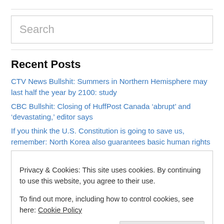[Figure (other): Search input box with placeholder text 'Search']
Recent Posts
CTV News Bullshit: Summers in Northern Hemisphere may last half the year by 2100: study
CBC Bullshit: Closing of HuffPost Canada ‘abrupt’ and ‘devastating,’ editor says
If you think the U.S. Constitution is going to save us, remember: North Korea also guarantees basic human rights
Privacy & Cookies: This site uses cookies. By continuing to use this website, you agree to their use.
To find out more, including how to control cookies, see here: Cookie Policy
Close and accept